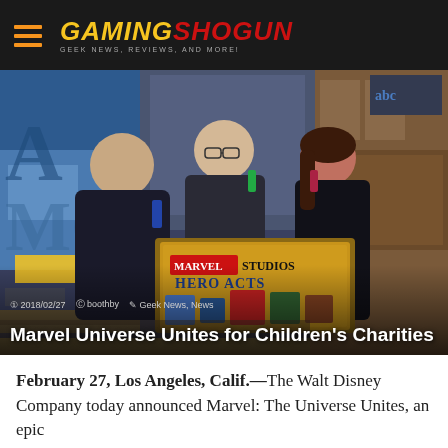GAMING SHOGUN — GEEK NEWS, REVIEWS, AND MORE!
[Figure (photo): Three people (two men and a woman) standing in a TV studio set, holding Marvel Studios Hero Acts merchandise display box and action figures. The set shows colorful blue graphics in the background. A Marvel Studios Hero Acts branded box with toys including LEGO and Funko Pop figures is visible in the foreground.]
2018/02/27  boothby  Geek News, News
Marvel Universe Unites for Children's Charities
February 27, Los Angeles, Calif.—The Walt Disney Company today announced Marvel: The Universe Unites, an epic